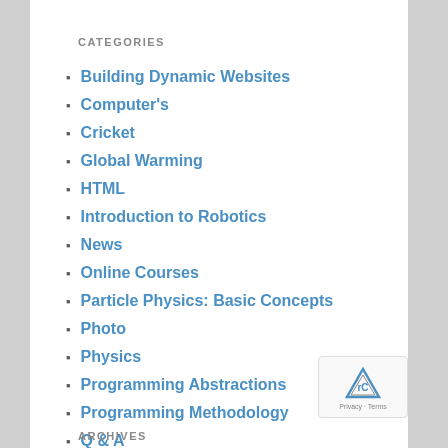CATEGORIES
Building Dynamic Websites
Computer's
Cricket
Global Warming
HTML
Introduction to Robotics
News
Online Courses
Particle Physics: Basic Concepts
Photo
Physics
Programming Abstractions
Programming Methodology
Q & A
Tutorials
Uncategorized
WordPress
ARCHIVES